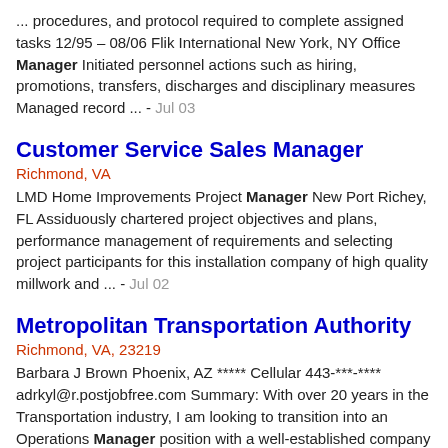... procedures, and protocol required to complete assigned tasks 12/95 – 08/06 Flik International New York, NY Office Manager Initiated personnel actions such as hiring, promotions, transfers, discharges and disciplinary measures Managed record ... - Jul 03
Customer Service Sales Manager
Richmond, VA
LMD Home Improvements Project Manager New Port Richey, FL Assiduously chartered project objectives and plans, performance management of requirements and selecting project participants for this installation company of high quality millwork and ... - Jul 02
Metropolitan Transportation Authority
Richmond, VA, 23219
Barbara J Brown Phoenix, AZ ***** Cellular 443-***-**** adrkyl@r.postjobfree.com Summary: With over 20 years in the Transportation industry, I am looking to transition into an Operations Manager position with a well-established company with room to ... - Jun 30